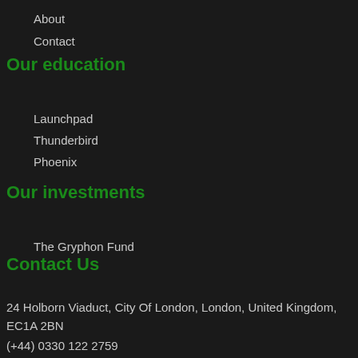About
Contact
Our education
Launchpad
Thunderbird
Phoenix
Our investments
The Gryphon Fund
Contact Us
24 Holborn Viaduct, City Of London, London, United Kingdom, EC1A 2BN
(+44) 0330 122 2759